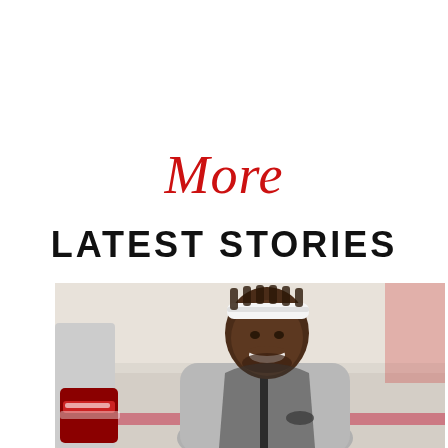More
LATEST STORIES
[Figure (photo): A smiling basketball player wearing a white headband and gray Nike hoodie on a basketball court, with red shoes visible in the background on the left side.]